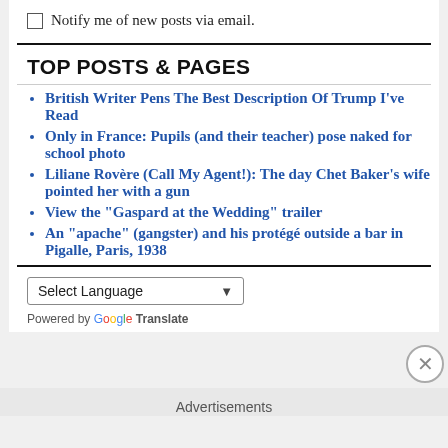Notify me of new posts via email.
TOP POSTS & PAGES
British Writer Pens The Best Description Of Trump I've Read
Only in France: Pupils (and their teacher) pose naked for school photo
Liliane Rovère (Call My Agent!): The day Chet Baker's wife pointed her with a gun
View the "Gaspard at the Wedding" trailer
An "apache" (gangster) and his protégé outside a bar in Pigalle, Paris, 1938
Select Language
Powered by Google Translate
Advertisements